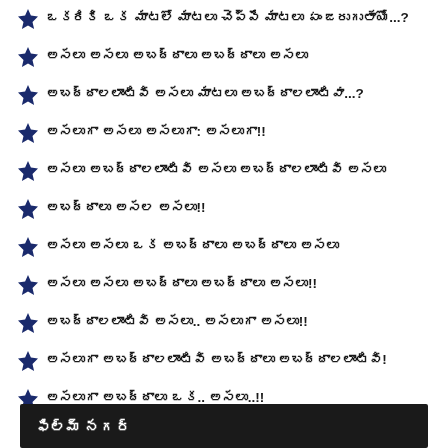ఒకరికి ఒక మాటలో మాటలు చెప్పే మాటలు ఏం జరుగుతాయో...?
అసలు అసలు అబద్దాలు అబద్దాలు అసలు
అబద్దాలలాంటివి అసలు మాటలు అబద్దాలలాంటివా...?
అసలుగా అసలు అసలుగా: అసలుగా!!
అసలు అబద్దాలలాంటివి అసలు అబద్దాలలాంటివి అసలు
అబద్దాలు అసల అసలు!!
అసలు అసలు ఒక అబద్దాలు అబద్దాలు అసలు
అసలు అసలు అబద్దాలు అబద్దాలు అసలు!!
అబద్దాలలాంటివి అసలు.. అసలుగా అసలు!!
అసలుగా అబద్దాలలాంటివి అబద్దాలు అబద్దాలలాంటివి!
అసలుగా అబద్దాలు ఒక.. అసలు..!!
ఫిల్మ్ నగర్